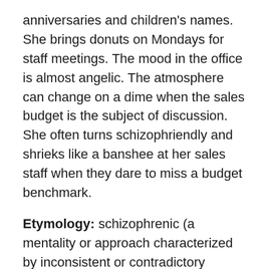anniversaries and children's names. She brings donuts on Mondays for staff meetings. The mood in the office is almost angelic. The atmosphere can change on a dime when the sales budget is the subject of discussion. She often turns schizophriendly and shrieks like a banshee at her sales staff when they dare to miss a budget benchmark.
Etymology: schizophrenic (a mentality or approach characterized by inconsistent or contradictory elements) + friendly (on good or affectionate terms)
Vote For | Comments and Points
Manicger